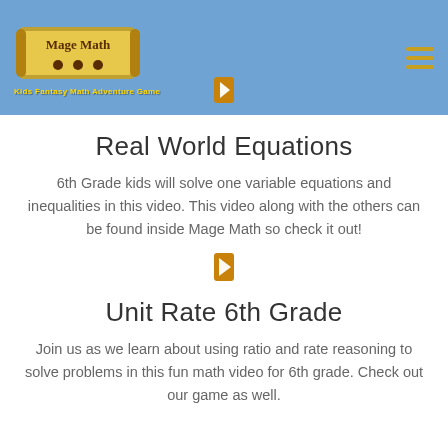Mage Math — Kids Fantasy Math Adventure Game
Real World Equations
6th Grade kids will solve one variable equations and inequalities in this video. This video along with the others can be found inside Mage Math so check it out!
[Figure (other): Small golden play button icon]
Unit Rate 6th Grade
Join us as we learn about using ratio and rate reasoning to solve problems in this fun math video for 6th grade. Check out our game as well.